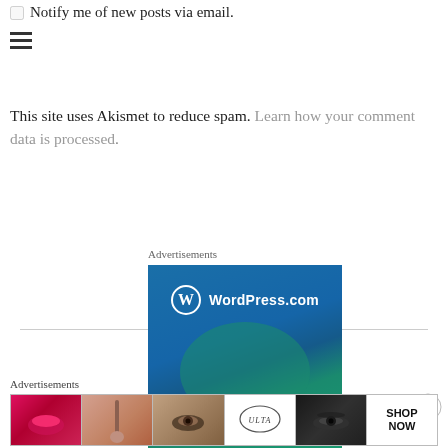Notify me of new posts via email.
≡
This site uses Akismet to reduce spam. Learn how your comment data is processed.
Advertisements
[Figure (screenshot): WordPress.com advertisement banner with blue-green gradient background showing WordPress.com logo and the text 'Everything']
[Figure (illustration): Close button (circled X) overlay]
Advertisements
[Figure (screenshot): Bottom advertisement bar with beauty/makeup images including lips, brush, eye, ULTA beauty logo, eyes, and SHOP NOW button]